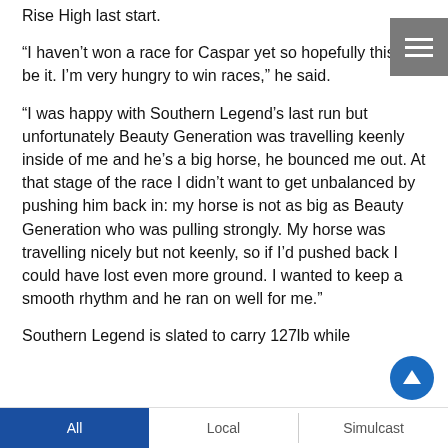Rise High last start.
“I haven’t won a race for Caspar yet so hopefully this can be it. I’m very hungry to win races,” he said.
“I was happy with Southern Legend’s last run but unfortunately Beauty Generation was travelling keenly inside of me and he’s a big horse, he bounced me out. At that stage of the race I didn’t want to get unbalanced by pushing him back in: my horse is not as big as Beauty Generation who was pulling strongly. My horse was travelling nicely but not keenly, so if I’d pushed back I could have lost even more ground. I wanted to keep a smooth rhythm and he ran on well for me.”
Southern Legend is slated to carry 127lb while
All   Local   Simulcast